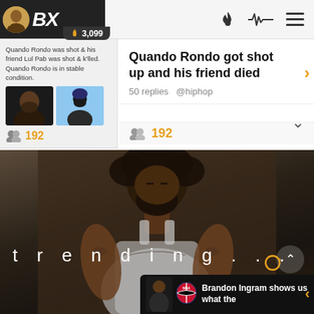BX  3,099
Quando Rondo was shot & his friend Lul Pab was shot & k'lled. Quando Rondo is in stable condition.
Quando Rondo got shot up and his friend died
50 replies @hiphop
192
[Figure (photo): Tattooed man with beard and afro hair wearing white tank top, head down, with text 'trending...' overlaid in white spaced letters]
Brandon Ingram shows us what the